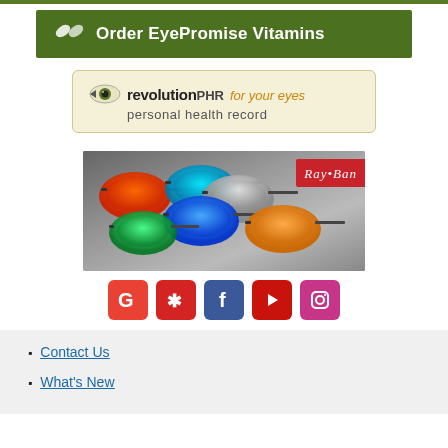Order EyePromise Vitamins
[Figure (logo): revolutionPHR for your eyes personal health record logo on cream background]
[Figure (photo): Ray-Ban sunglasses collection with various colored mirror lenses displayed on gray background with Ray-Ban logo]
[Figure (infographic): Social media icons row: Google, Yelp, Facebook, YouTube, Instagram]
Contact Us
What's New